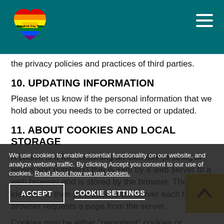Bangkok Gay Tour - Navigation header
the privacy policies and practices of third parties.
10. UPDATING INFORMATION
Please let us know if the personal information that we hold about you needs to be corrected or updated.
11. ABOUT COOKIES AND LOCAL STORAGE
A cookie is a file containing an identifier (a string of letters and numbers) that is sent by a web server to a web browser and is stored by the browser. The identifier is then sent back to the server each time the browser requests a page from the server.
Cookies may be either "persistent" cookies or "session" cookies: a persistent cookie will be stored
We use cookies to enable essential functionality on our website, and analyze website traffic. By clicking Accept you consent to our use of cookies. Read about how we use cookies.